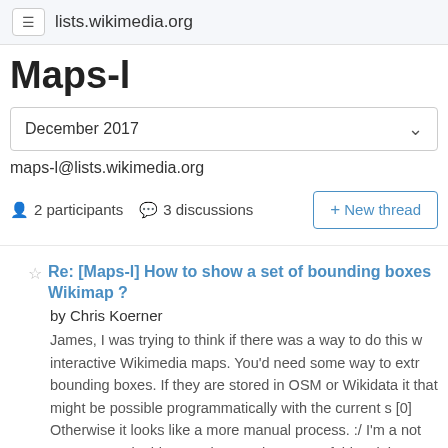lists.wikimedia.org
Maps-l
December 2017
maps-l@lists.wikimedia.org
2 participants   3 discussions
+ New thread
Re: [Maps-l] How to show a set of bounding boxes Wikimap ?
by Chris Koerner
James, I was trying to think if there was a way to do this w interactive Wikimedia maps. You'd need some way to extr bounding boxes. If they are stored in OSM or Wikidata it that might be possible programmatically with the current s [0] Otherwise it looks like a more manual process. :/ I'm a not super savvy in this area, but maybe some of this migh helpful? [0]